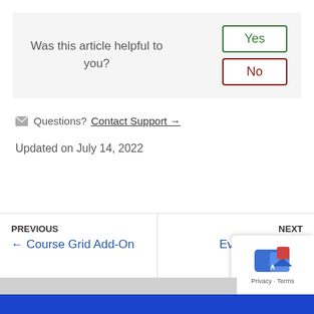Was this article helpful to you?
Yes
No
✉ Questions? Contact Support →
Updated on July 14, 2022
PREVIOUS
← Course Grid Add-On
NEXT
Event Espresso Integration →